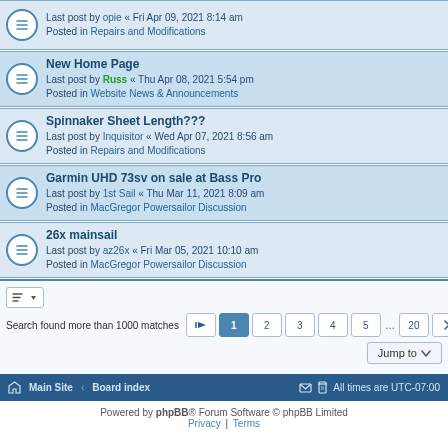Last post by opie « Fri Apr 09, 2021 8:14 am
Posted in Repairs and Modifications
New Home Page
Last post by Russ « Thu Apr 08, 2021 5:54 pm
Posted in Website News & Announcements
Spinnaker Sheet Length???
Last post by Inquisitor « Wed Apr 07, 2021 8:56 am
Posted in Repairs and Modifications
Garmin UHD 73sv on sale at Bass Pro
Last post by 1st Sail « Thu Mar 11, 2021 8:09 am
Posted in MacGregor Powersailor Discussion
26x mainsail
Last post by az26x « Fri Mar 05, 2021 10:10 am
Posted in MacGregor Powersailor Discussion
Search found more than 1000 matches
Main Site · Board index    All times are UTC-07:00
Powered by phpBB® Forum Software © phpBB Limited
Privacy | Terms